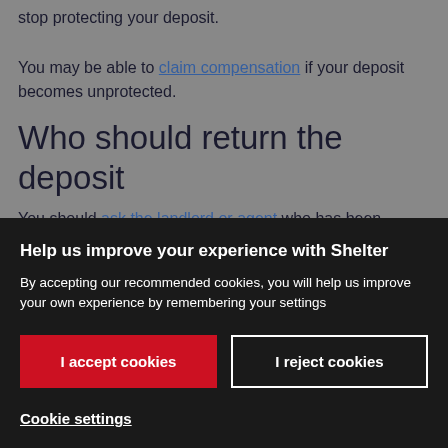stop protecting your deposit.
You may be able to claim compensation if your deposit becomes unprotected.
Who should return the deposit
You should ask the landlord or agent who has been
Help us improve your experience with Shelter
By accepting our recommended cookies, you will help us improve your own experience by remembering your settings
I accept cookies
I reject cookies
Cookie settings